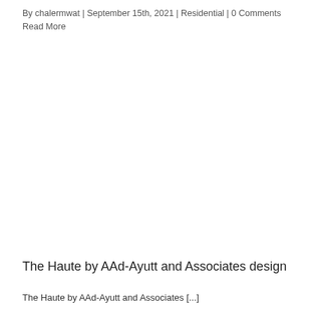By chalermwat | September 15th, 2021 | Residential | 0 Comments
Read More
[Figure (photo): Blank/white image area placeholder for residential architecture photo]
The Haute by AAd-Ayutt and Associates design
The Haute by AAd-Ayutt and Associates [...]